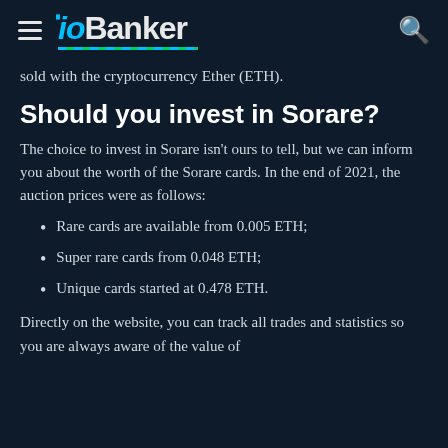ioBanker
sold with the cryptocurrency Ether (ETH).
Should you invest in Sorare?
The choice to invest in Sorare isn't ours to tell, but we can inform you about the worth of the Sorare cards. In the end of 2021, the auction prices were as follows:
Rare cards are available from 0.005 ETH;
Super rare cards from 0.048 ETH;
Unique cards started at 0.478 ETH.
Directly on the website, you can track all trades and statistics so you are always aware of the value of